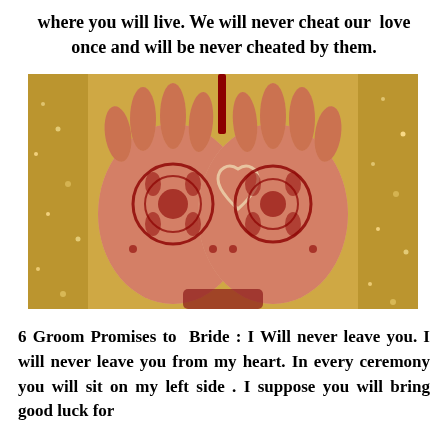where you will live. We will never cheat our love once and will be never cheated by them.
[Figure (photo): Two henna-decorated hands held together palm-up, showing intricate red mehndi patterns including a heart shape in the center, against a golden glittery fabric background.]
6 Groom Promises to Bride : I Will never leave you. I will never leave you from my heart. In every ceremony you will sit on my left side . I suppose you will bring good luck for